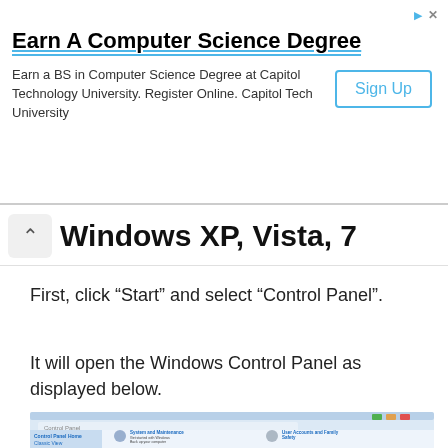[Figure (screenshot): Advertisement banner for Capitol Technology University Computer Science Degree with Sign Up button]
Windows XP, Vista, 7
First, click “Start” and select “Control Panel”.
It will open the Windows Control Panel as displayed below.
[Figure (screenshot): Windows Control Panel screenshot showing categories: System and Maintenance, Security, Network and Internet, Hardware and Sound, Programs, User Accounts and Family Safety, Appearance and Personalization, Clock Language and Region, Ease of Access, Additional Options]